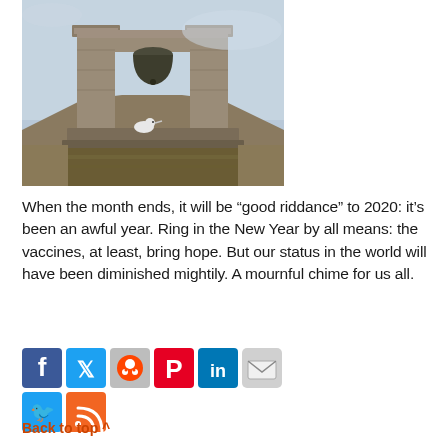[Figure (photo): A stone church bell tower with a large bronze bell visible between two stone columns. A white bird (seagull) is perched on the stone ledge below the bell. The sky is light blue/grey.]
When the month ends, it will be “good riddance” to 2020: it’s been an awful year. Ring in the New Year by all means: the vaccines, at least, bring hope. But our status in the world will have been diminished mightily. A mournful chime for us all.
[Figure (infographic): Social media sharing icons in a row: Facebook (blue), Twitter (blue), Reddit (grey/red), Pinterest (red), LinkedIn (blue), Email (grey). Second row: Twitter (blue), RSS feed (orange).]
Back to top ^